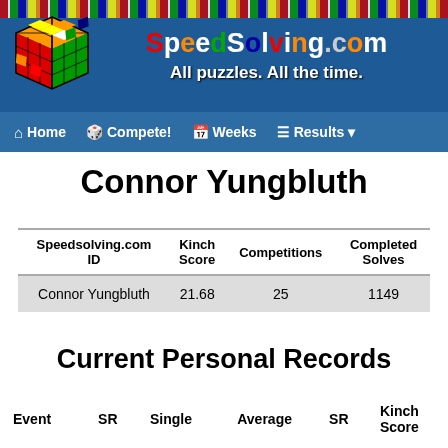[Figure (screenshot): SpeedSolving.com website header with logo, site name, tagline 'All puzzles. All the time.', and navigation bar with Home, Compete!, Weeks, Results links]
Connor Yungbluth
| Speedsolving.com ID | Kinch Score | Competitions | Completed Solves |
| --- | --- | --- | --- |
| Connor Yungbluth | 21.68 | 25 | 1149 |
Current Personal Records
| Event | SR | Single | Average | SR | Kinch Score |
| --- | --- | --- | --- | --- | --- |